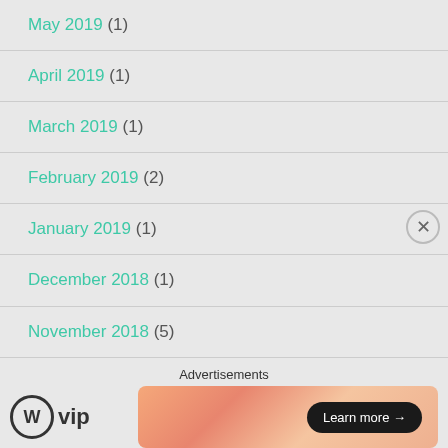May 2019 (1)
April 2019 (1)
March 2019 (1)
February 2019 (2)
January 2019 (1)
December 2018 (1)
November 2018 (5)
October 2018 (6)
[Figure (infographic): WordPress VIP advertisement banner with 'Learn more' button on gradient background]
Advertisements